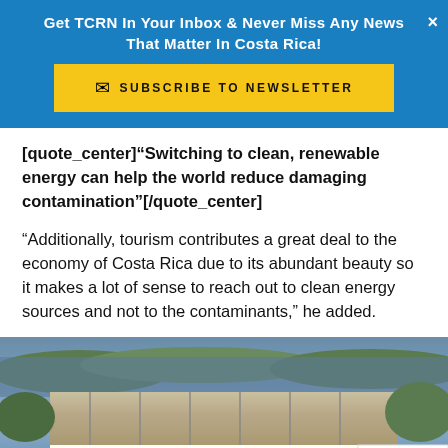Get TCRN In Your Inbox & Never Miss Any News That Matter In Costa Rica!
[quote_center]“Switching to clean, renewable energy can help the world reduce damaging contamination”[/quote_center]
“Additionally, tourism contributes a great deal to the economy of Costa Rica due to its abundant beauty so it makes a lot of sense to reach out to clean energy sources and not to the contaminants,” he added.
[Figure (photo): Aerial view of a dam with water flowing over spillways, surrounded by green vegetation and a body of water in the background.]